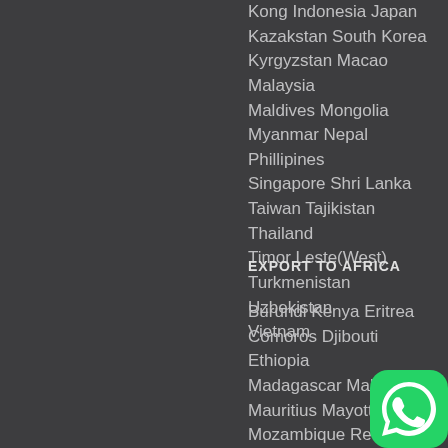Kong Indonesia Japan Kazakstan South Korea Kyrgyzstan Macao Malaysia Maldives Mongolia Myanmar Nepal Phillipines Singapore Shri Lanka Taiwan Tajikistan Thailand Timor Leste(West) Turkmenistan Uzbekistan Vietnam
EXPORT TO AFRICA
Burundi Kenya Eritrea Comoros Djibouti Ethiopia Madagascar Malawi Mauritius Mayotte Mozambique Reunion Rwanda Seychelles Somalia
[Figure (logo): WhatsApp logo icon — green rounded square with white phone handset in speech bubble]